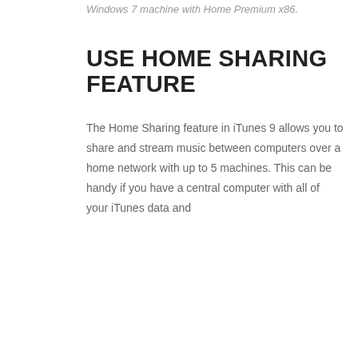Windows 7 machine with Home Premium x86.
USE HOME SHARING FEATURE
The Home Sharing feature in iTunes 9 allows you to share and stream music between computers over a home network with up to 5 machines. This can be handy if you have a central computer with all of your iTunes data and
tbook on
ar iTunes
e of the
MORE STORIES FROM HARDWARE
s 9
[Figure (photo): Woman running outdoors at sunset wearing pink top and dark pants]
[Figure (photo): Close-up of stacked SSD drives on dark background]
GETTING A MOVE ON: DO PEOPLE
WHY SMALLER SSDS ARE SLOWER THAN
unes
ylists